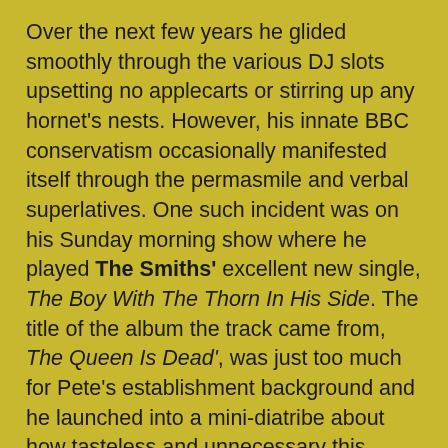Over the next few years he glided smoothly through the various DJ slots upsetting no applecarts or stirring up any hornet's nests. However, his innate BBC conservatism occasionally manifested itself through the permasmile and verbal superlatives. One such incident was on his Sunday morning show where he played The Smiths' excellent new single, The Boy With The Thorn In His Side. The title of the album the track came from, The Queen Is Dead', was just too much for Pete's establishment background and he launched into a mini-diatribe about how tasteless and unnecessary this album title was. Well, he had his CBE to consider!